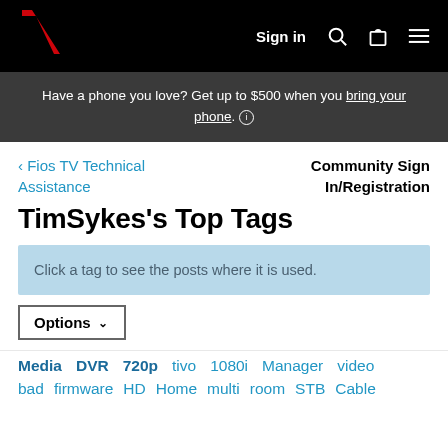Verizon navigation bar with Sign in, search, bag, and menu icons
Have a phone you love? Get up to $500 when you bring your phone. ℹ
< Fios TV Technical Assistance
Community Sign In/Registration
TimSykes's Top Tags
Click a tag to see the posts where it is used.
Options ▾
Media  DVR  720p  tivo  1080i  Manager  video
bad  firmware  HD  Home  multi  room  STB  Cable